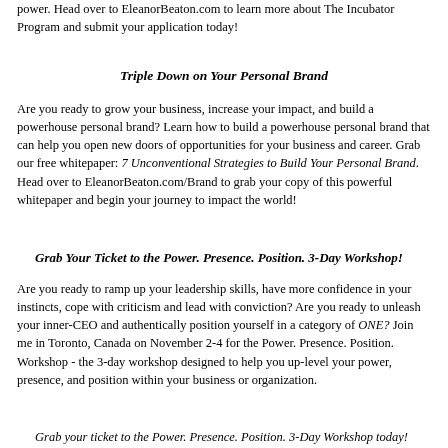power. Head over to EleanorBeaton.com to learn more about The Incubator Program and submit your application today!
Triple Down on Your Personal Brand
Are you ready to grow your business, increase your impact, and build a powerhouse personal brand? Learn how to build a powerhouse personal brand that can help you open new doors of opportunities for your business and career. Grab our free whitepaper: 7 Unconventional Strategies to Build Your Personal Brand. Head over to EleanorBeaton.com/Brand to grab your copy of this powerful whitepaper and begin your journey to impact the world!
Grab Your Ticket to the Power. Presence. Position. 3-Day Workshop!
Are you ready to ramp up your leadership skills, have more confidence in your instincts, cope with criticism and lead with conviction? Are you ready to unleash your inner-CEO and authentically position yourself in a category of ONE? Join me in Toronto, Canada on November 2-4 for the Power. Presence. Position. Workshop - the 3-day workshop designed to help you up-level your power, presence, and position within your business or organization.
Grab your ticket to the Power. Presence. Position. 3-Day Workshop today!